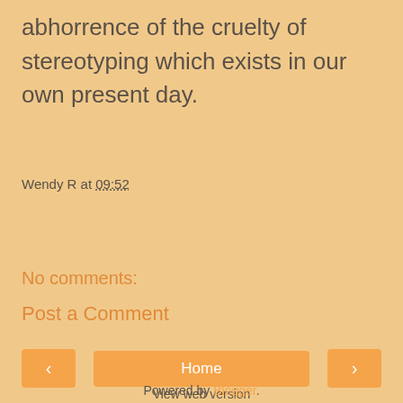abhorrence of the cruelty of stereotyping which exists in our own present day.
Wendy R at 09:52
Share
No comments:
Post a Comment
‹
Home
›
View web version
Powered by Blogger.